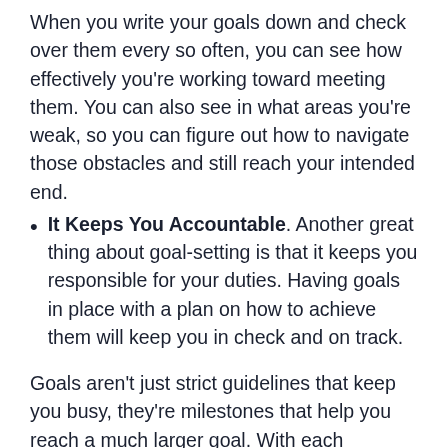When you write your goals down and check over them every so often, you can see how effectively you're working toward meeting them. You can also see in what areas you're weak, so you can figure out how to navigate those obstacles and still reach your intended end.
It Keeps You Accountable. Another great thing about goal-setting is that it keeps you responsible for your duties. Having goals in place with a plan on how to achieve them will keep you in check and on track.
Goals aren't just strict guidelines that keep you busy, they're milestones that help you reach a much larger goal. With each achievement you are one step closer to reaching your main